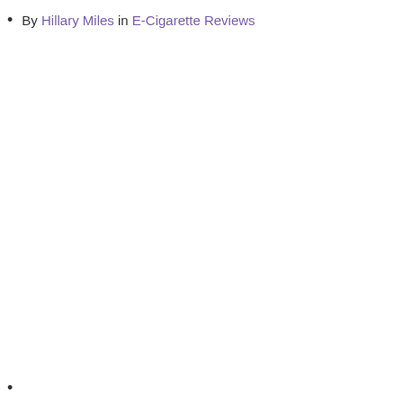By Hillary Miles in E-Cigarette Reviews